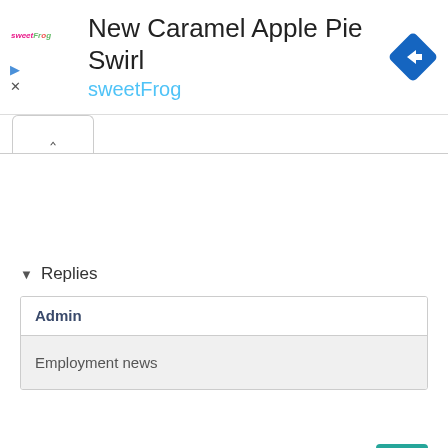[Figure (screenshot): sweetFrog advertisement banner with logo, title 'New Caramel Apple Pie Swirl', subtitle 'sweetFrog' in cyan, and a blue navigation arrow icon]
Replies
Admin
Employment news
Reply